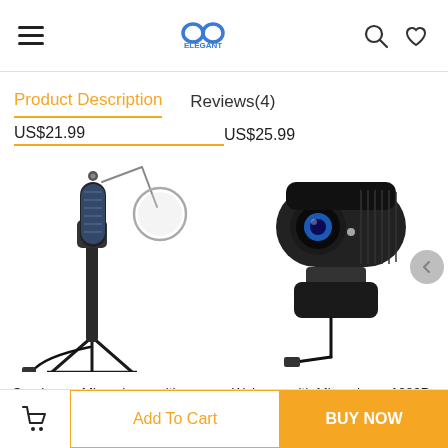Navigation bar with hamburger menu, logo (GG ELEGANT), search and wishlist icons
Product Description   Reviews(4)
US$21.99   US$25.99
[Figure (photo): Condenser microphone with tripod stand and pop filter]
[Figure (photo): Webcam with microphone 1080P full HD with privacy cover and USB cable]
Condenser Microphone with Tripod Stand Pop Filter...
Webcam with Microphone 1080P Full HD and Privacy...
Add To Cart   BUY NOW